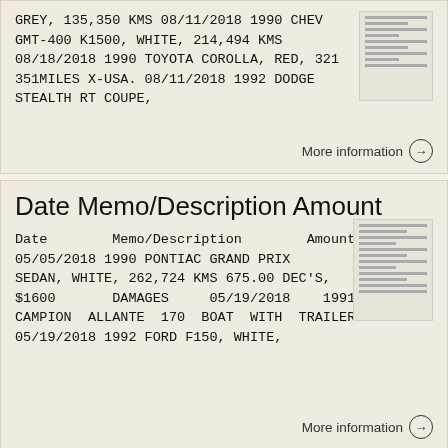GREY, 135,350 KMS 08/11/2018 1990 CHEV GMT-400 K1500, WHITE, 214,494 KMS 08/18/2018 1990 TOYOTA COROLLA, RED, 321 351MILES X-USA. 08/11/2018 1992 DODGE STEALTH RT COUPE,
More information →
Date Memo/Description Amount
Date Memo/Description Amount 05/05/2018 1990 PONTIAC GRAND PRIX SEDAN, WHITE, 262,724 KMS 675.00 DEC'S, $1600 DAMAGES 05/19/2018 1991 CAMPION ALLANTE 170 BOAT WITH TRAILER. 05/19/2018 1992 FORD F150, WHITE,
More information →
Model Year 2008 Vehicles
Model Year 2008 Vehicles for State agency